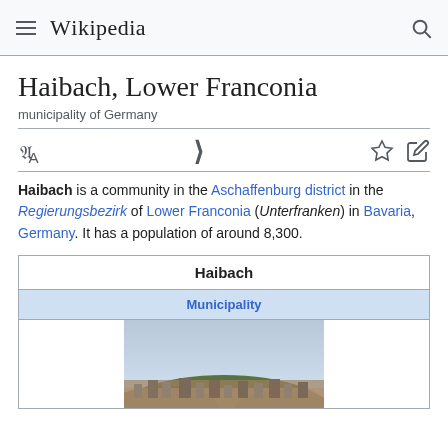Wikipedia
Haibach, Lower Franconia
municipality of Germany
Haibach is a community in the Aschaffenburg district in the Regierungsbezirk of Lower Franconia (Unterfranken) in Bavaria, Germany. It has a population of around 8,300.
| Haibach |
| --- |
| Municipality |
| [image] |